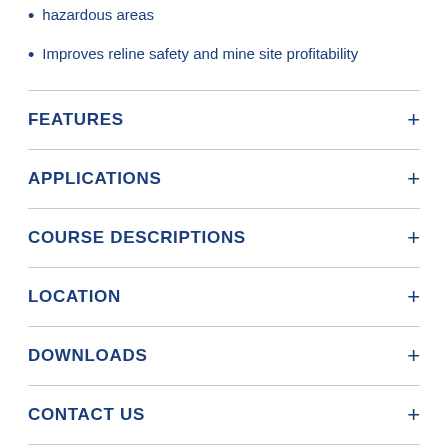hazardous areas
Improves reline safety and mine site profitability
FEATURES
APPLICATIONS
COURSE DESCRIPTIONS
LOCATION
DOWNLOADS
CONTACT US